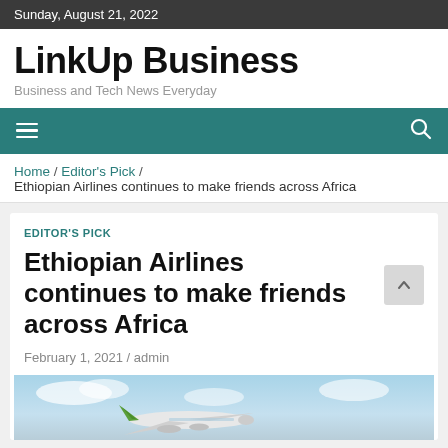Sunday, August 21, 2022
LinkUp Business
Business and Tech News Everyday
Home / Editor's Pick / Ethiopian Airlines continues to make friends across Africa
EDITOR'S PICK
Ethiopian Airlines continues to make friends across Africa
February 1, 2021 / admin
[Figure (photo): Ethiopian Airlines aircraft in the sky with clouds and green tail visible]